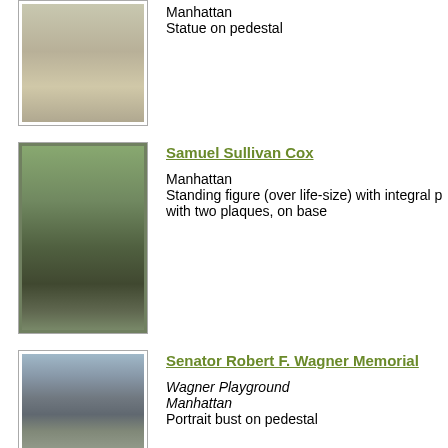[Figure (photo): Statue on pedestal in Manhattan, partial view showing base and pedestal]
Manhattan
Statue on pedestal
[Figure (photo): Samuel Sullivan Cox standing figure statue on pedestal in a park, Manhattan]
Samuel Sullivan Cox
Manhattan
Standing figure (over life-size) with integral p... with two plaques, on base
[Figure (photo): Senator Robert F. Wagner Memorial - portrait bust on pedestal at Wagner Playground, Manhattan]
Senator Robert F. Wagner Memorial
Wagner Playground
Manhattan
Portrait bust on pedestal